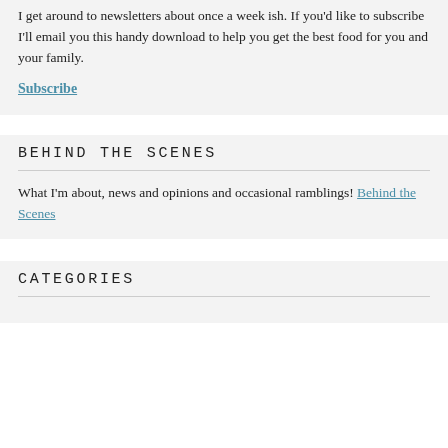I get around to newsletters about once a week ish. If you'd like to subscribe I'll email you this handy download to help you get the best food for you and your family.
Subscribe
BEHIND THE SCENES
What I'm about, news and opinions and occasional ramblings! Behind the Scenes
CATEGORIES